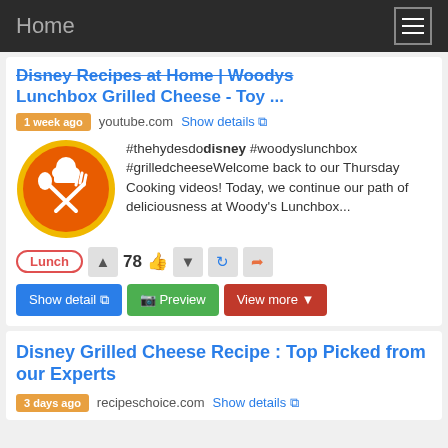Home
Disney Recipes at Home | Woodys Lunchbox Grilled Cheese - Toy ...
1 week ago  youtube.com  Show details
[Figure (logo): Orange circle logo with white chef hat, crossed spoon and fork icons]
#thehydesdodisney #woodyslunchbox #grilledcheeseWelcome back to our Thursday Cooking videos! Today, we continue our path of deliciousness at Woody's Lunchbox...
Lunch  78  Show detail  Preview  View more
Disney Grilled Cheese Recipe : Top Picked from our Experts
3 days ago  recipeschoice.com  Show details